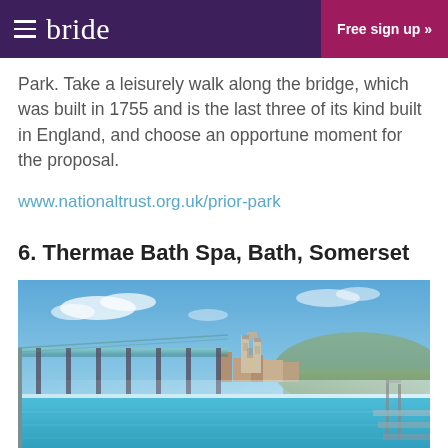bride  Free sign up »
Park. Take a leisurely walk along the bridge, which was built in 1755 and is the last three of its kind built in England, and choose an opportune moment for the proposal.
www.nationaltrust.org.uk/prior-park
6. Thermae Bath Spa, Bath, Somerset
[Figure (photo): Rooftop pool at Thermae Bath Spa, Bath, Somerset, with glass canopy structure in the foreground and Bath Abbey visible in the background against a blue sky.]